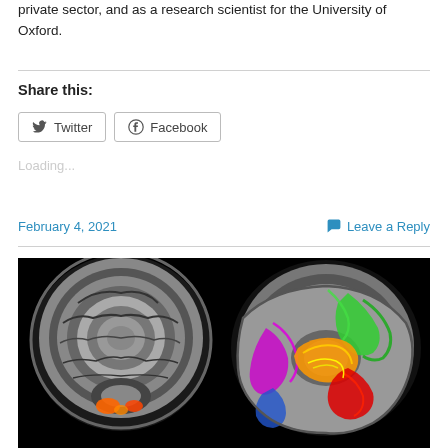private sector, and as a research scientist for the University of Oxford.
Share this:
Twitter   Facebook
Loading...
February 4, 2021
Leave a Reply
[Figure (photo): Two brain MRI scans side by side on black background: left shows a coronal grayscale MRI with orange/red activation in inferior regions; right shows a sagittal MRI with colorful tractography overlaid (green, magenta, orange, red, yellow, blue fiber tracts).]